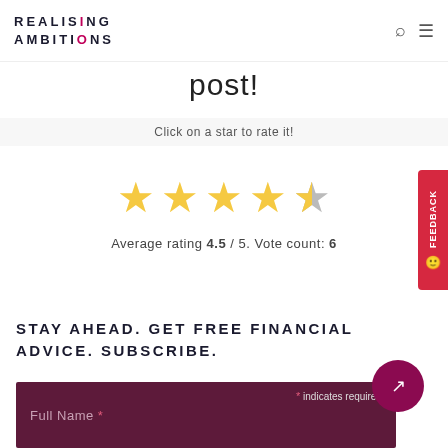REALISING AMBITIONS
post!
Click on a star to rate it!
[Figure (other): 5-star rating widget showing 4.5 stars filled in gold and half of the 5th star in grey]
Average rating 4.5 / 5. Vote count: 6
STAY AHEAD. GET FREE FINANCIAL ADVICE. SUBSCRIBE.
* indicates required
Full Name *